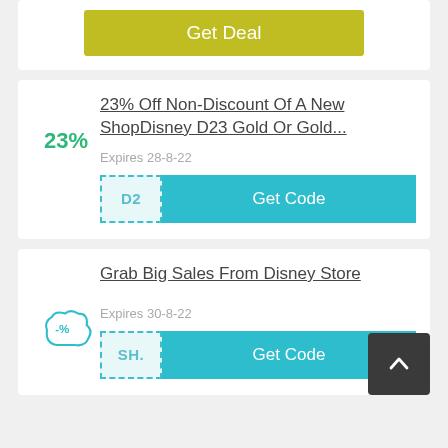[Figure (other): Get Deal button (olive/yellow-green color)]
23% Off Non-Discount Of A New ShopDisney D23 Gold Or Gold...
Expires 28-8-22
D2 | Get Code
Grab Big Sales From Disney Store
Expires 30-8-22
SH. | Get Code